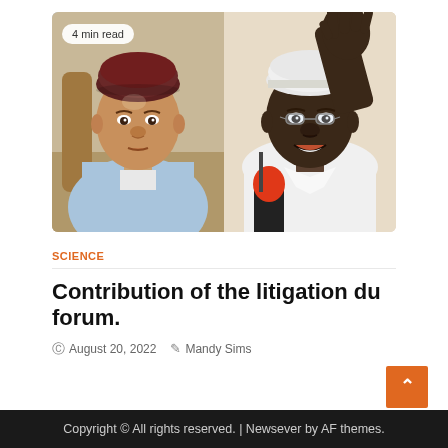[Figure (photo): Two men side by side: left man wearing a dark maroon kufi cap and light blue traditional garment seated; right man in white cap and white garment waving hand, with a red microphone in foreground. Badge reads '4 min read'.]
SCIENCE
Contribution of the litigation du forum.
August 20, 2022   Mandy Sims
Copyright © All rights reserved. | Newsever by AF themes.